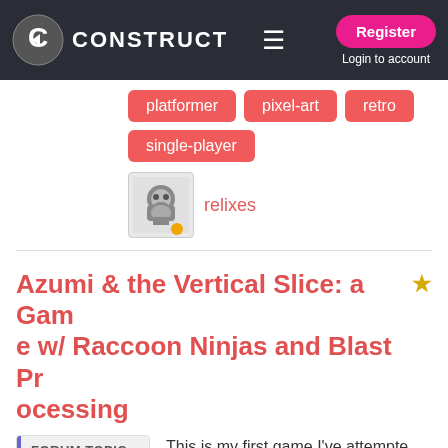Construct — Register | Login to account
platformer
pixel-art
retro
single-player
relixes
Azumi & the Vertical Slice: a Game w/ Raccoon Ninjas and Blast Processing
FORUM TOPIC
4 replies
597 views
This is my first game I've attempted to make, a throwback Sega Genesis-style action platformer. I plan on building it into a full game going forward, but for no...